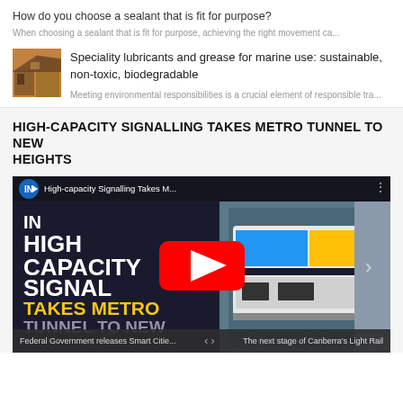How do you choose a sealant that is fit for purpose?
When choosing a sealant that is fit for purpose, achieving the right movement ca...
[Figure (photo): Small thumbnail image of a wooden interior or construction scene with warm brown tones]
Speciality lubricants and grease for marine use: sustainable, non-toxic, biodegradable
Meeting environmental responsibilities is a crucial element of responsible tra...
HIGH-CAPACITY SIGNALLING TAKES METRO TUNNEL TO NEW HEIGHTS
[Figure (screenshot): YouTube video thumbnail showing 'High-capacity Signalling Takes M...' with bold text overlay reading IN HIGH CAPACITY SIGNALLING TAKES METRO TUNNEL TO NEW in white and yellow on dark background, with a train image on the right and a red YouTube play button in the center]
Federal Government releases Smart Citie... < > The next stage of Canberra's Light Rail